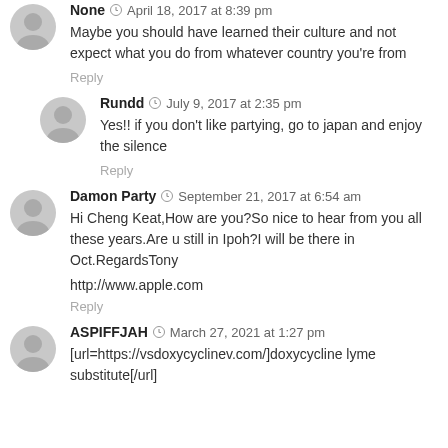None · April 18, 2017 at 8:39 pm
Maybe you should have learned their culture and not expect what you do from whatever country you're from
Reply
Rundd · July 9, 2017 at 2:35 pm
Yes!! if you don't like partying, go to japan and enjoy the silence
Reply
Damon Party · September 21, 2017 at 6:54 am
Hi Cheng Keat,How are you?So nice to hear from you all these years.Are u still in Ipoh?I will be there in Oct.RegardsTony
http://www.apple.com
Reply
ASPIFFJAH · March 27, 2021 at 1:27 pm
[url=https://vsdoxycyclinev.com/]doxycycline lyme substitute[/url]